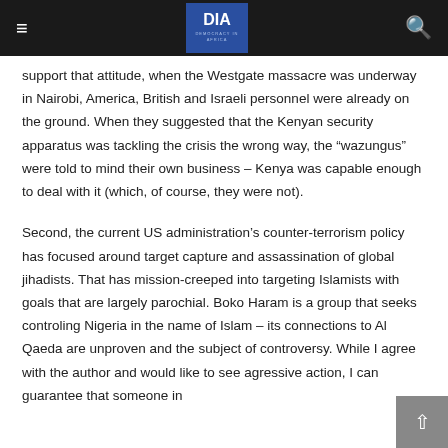DIA — Democracy in Africa
support that attitude, when the Westgate massacre was underway in Nairobi, America, British and Israeli personnel were already on the ground. When they suggested that the Kenyan security apparatus was tackling the crisis the wrong way, the “wazungus” were told to mind their own business – Kenya was capable enough to deal with it (which, of course, they were not).
Second, the current US administration’s counter-terrorism policy has focused around target capture and assassination of global jihadists. That has mission-creeped into targeting Islamists with goals that are largely parochial. Boko Haram is a group that seeks controling Nigeria in the name of Islam – its connections to Al Qaeda are unproven and the subject of controversy. While I agree with the author and would like to see agressive action, I can guarantee that someone in